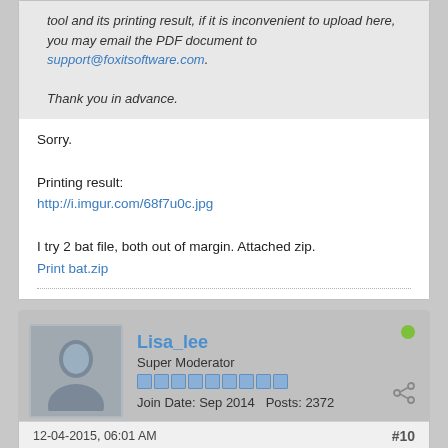tool and its printing result, if it is inconvenient to upload here, you may email the PDF document to support@foxitsoftware.com.

Thank you in advance.
Sorry.

Printing result:
http://i.imgur.com/68f7u0c.jpg

I try 2 bat file, both out of margin. Attached zip.
Print bat.zip
Lisa_lee
Super Moderator
Join Date: Sep 2014   Posts: 2372
12-04-2015, 06:01 AM
#10
@amein ,

Regarding the situation"the output from printing will be out of margin",it may be related to the"Print as image"in Foxit Reader print dialog box. Do please try to open your PDF file in Foxit Reader and click...